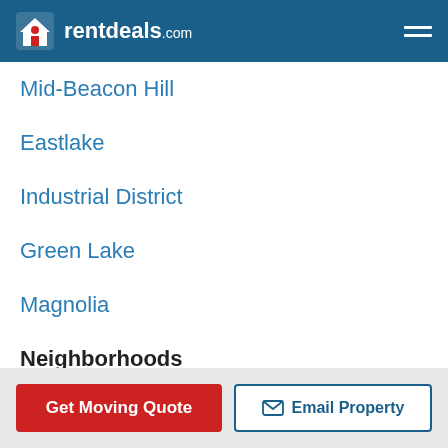rentdeals.com
Mid-Beacon Hill
Eastlake
Industrial District
Green Lake
Magnolia
Neighborhoods
Mount Baker
Capitol Hill
North Admiral
Roosevelt
Riverton Boulevard Park
Get Moving Quote   Email Property